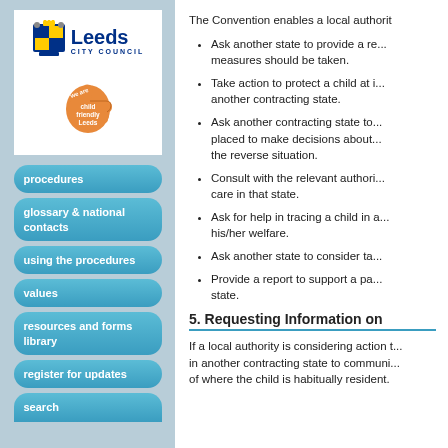[Figure (logo): Leeds City Council logo with coat of arms and Child Friendly Leeds thumbs up badge]
procedures
glossary & national contacts
using the procedures
values
resources and forms library
register for updates
search
The Convention enables a local authorit...
Ask another state to provide a re... measures should be taken.
Take action to protect a child at i... another contracting state.
Ask another contracting state to... placed to make decisions about... the reverse situation.
Consult with the relevant authori... care in that state.
Ask for help in tracing a child in a... his/her welfare.
Ask another state to consider ta...
Provide a report to support a pa... state.
5. Requesting Information on
If a local authority is considering action t... in another contracting state to communi... of where the child is habitually resident.